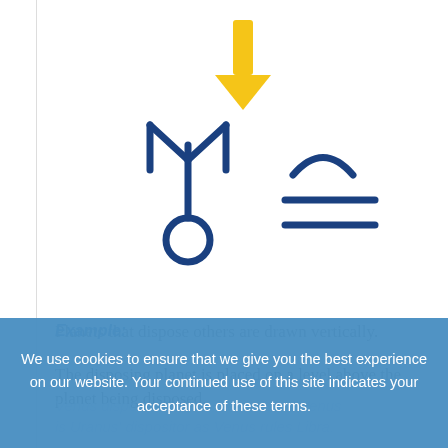[Figure (illustration): Astrological symbols: a yellow downward arrow at top pointing to two dark blue planetary symbols (Uranus and Libra glyphs) side by side, drawn in hand-drawn style]
Planets that dispose others are drawn vertically.
The disposing planet is placed on a level above the planet being disposed.
Example:
Venus disposes Uranus in Libra and Venus is Uranus' dispositor as Venus rules Libra.
We use cookies to ensure that we give you the best experience on our website. Your continued use of this site indicates your acceptance of these terms.